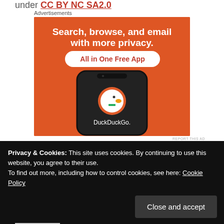under CC BY NC SA2.0
Advertisements
[Figure (illustration): DuckDuckGo advertisement: orange background with white bold text 'Search, browse, and email with more privacy.' and a white badge reading 'All in One Free App'. Below is an illustration of a smartphone showing the DuckDuckGo logo (duck mascot in orange circle) and the text 'DuckDuckGo.' on a dark phone screen.]
REPORT THIS AD
Privacy & Cookies: This site uses cookies. By continuing to use this website, you agree to their use.
To find out more, including how to control cookies, see here: Cookie Policy
Close and accept